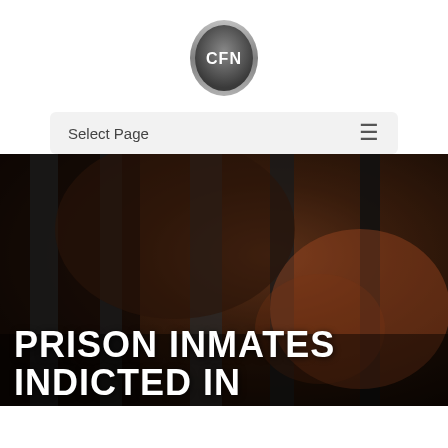[Figure (logo): CFN oval metallic logo with text 'CFN' in white on dark grey gradient background]
Select Page
[Figure (photo): Dark dramatic photo of a man's face seen through prison bars, brown and black tones]
PRISON INMATES INDICTED IN